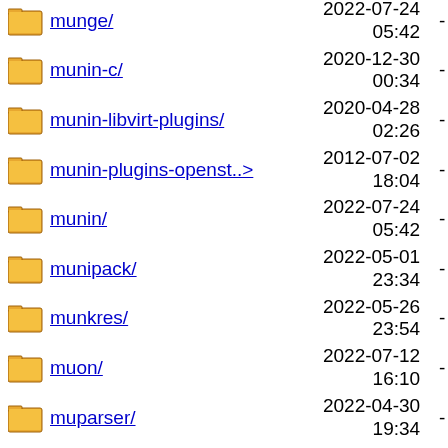munge/ 2022-07-24 05:42 -
munin-c/ 2020-12-30 00:34 -
munin-libvirt-plugins/ 2020-04-28 02:26 -
munin-plugins-openst..> 2012-07-02 18:04 -
munin/ 2022-07-24 05:42 -
munipack/ 2022-05-01 23:34 -
munkres/ 2022-05-26 23:54 -
muon/ 2022-07-12 16:10 -
muparser/ 2022-04-30 19:34 -
muparserx/ 2021-01-11 11:44 -
mupdf/ 2022-08-17 14:33 -
mupen64plus-audio-sdl/ 2020-12-30 -